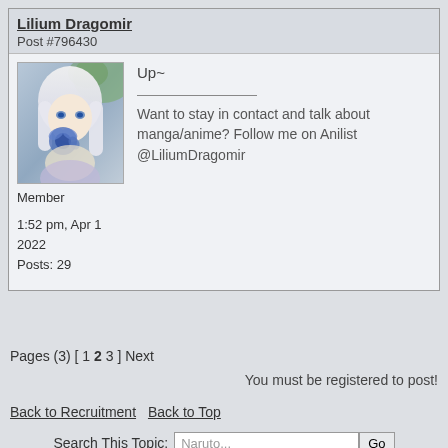Lilium Dragomir
Post #796430
[Figure (photo): Avatar image of an anime-style character with white/silver hair holding a blue flower, soft purple/blue background]
Up~
Want to stay in contact and talk about manga/anime? Follow me on Anilist @LiliumDragomir
Member
1:52 pm, Apr 1 2022
Posts: 29
Pages (3) [ 1 2 3 ] Next
You must be registered to post!
Back to Recruitment   Back to Top
Search This Topic: